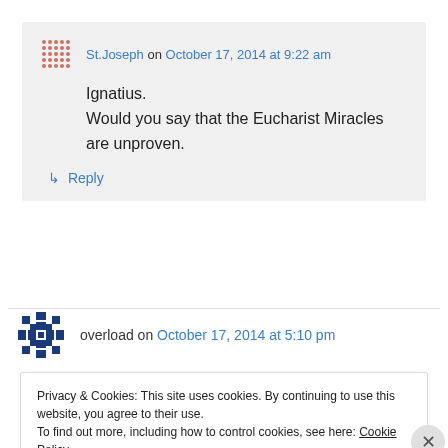St.Joseph on October 17, 2014 at 9:22 am
Ignatius.
Would you say that the Eucharist Miracles are unproven.
↳ Reply
overload on October 17, 2014 at 5:10 pm
Privacy & Cookies: This site uses cookies. By continuing to use this website, you agree to their use.
To find out more, including how to control cookies, see here: Cookie Policy
Close and accept